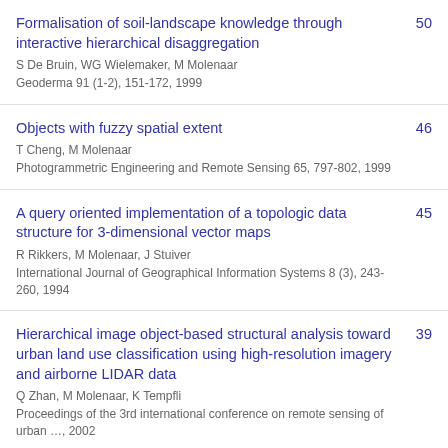Formalisation of soil-landscape knowledge through interactive hierarchical disaggregation — S De Bruin, WG Wielemaker, M Molenaar — Geoderma 91 (1-2), 151-172, 1999 — 50
Objects with fuzzy spatial extent — T Cheng, M Molenaar — Photogrammetric Engineering and Remote Sensing 65, 797-802, 1999 — 46
A query oriented implementation of a topologic data structure for 3-dimensional vector maps — R Rikkers, M Molenaar, J Stuiver — International Journal of Geographical Information Systems 8 (3), 243-260, 1994 — 45
Hierarchical image object-based structural analysis toward urban land use classification using high-resolution imagery and airborne LIDAR data — Q Zhan, M Molenaar, K Tempfli — Proceedings of the 3rd international conference on remote sensing of urban …, 2002 — 39